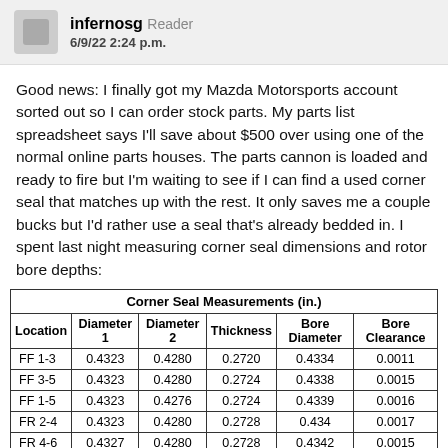infernosg  Reader
6/9/22 2:24 p.m.
Good news: I finally got my Mazda Motorsports account sorted out so I can order stock parts. My parts list spreadsheet says I'll save about $500 over using one of the normal online parts houses. The parts cannon is loaded and ready to fire but I'm waiting to see if I can find a used corner seal that matches up with the rest. It only saves me a couple bucks but I'd rather use a seal that's already bedded in. I spent last night measuring corner seal dimensions and rotor bore depths:
| Corner Seal Measurements (in.) |  |  |  |  |  |
| --- | --- | --- | --- | --- | --- |
| Location | Diameter 1 | Diameter 2 | Thickness | Bore Diameter | Bore Clearance |
| FF 1-3 | 0.4323 | 0.4280 | 0.2720 | 0.4334 | 0.0011 |
| FF 3-5 | 0.4323 | 0.4280 | 0.2724 | 0.4338 | 0.0015 |
| FF 1-5 | 0.4323 | 0.4276 | 0.2724 | 0.4339 | 0.0016 |
| FR 2-4 | 0.4323 | 0.4280 | 0.2728 | 0.434 | 0.0017 |
| FR 4-6 | 0.4327 | 0.4280 | 0.2728 | 0.4342 | 0.0015 |
| FR 2-6 | 0.4323 | 0.4280 | 0.2720 | 0.4339 | 0.0016 |
| RE 2-4 | 0.4327 | 0.4280 | 0.2728 | 0.434 | 0.0013 |